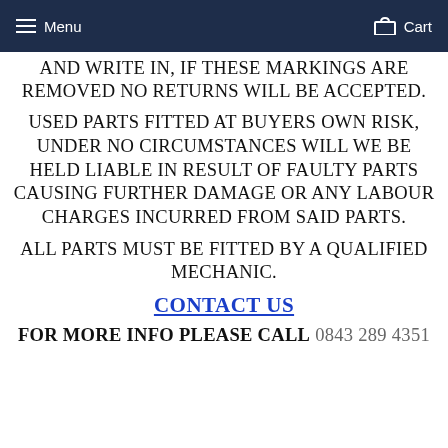Menu | Cart
AND WRITE IN, IF THESE MARKINGS ARE REMOVED NO RETURNS WILL BE ACCEPTED.
USED PARTS FITTED AT BUYERS OWN RISK, UNDER NO CIRCUMSTANCES WILL WE BE HELD LIABLE IN RESULT OF FAULTY PARTS CAUSING FURTHER DAMAGE OR ANY LABOUR CHARGES INCURRED FROM SAID PARTS.
ALL PARTS MUST BE FITTED BY A QUALIFIED MECHANIC.
CONTACT US
FOR MORE INFO PLEASE CALL 0843 289 4351